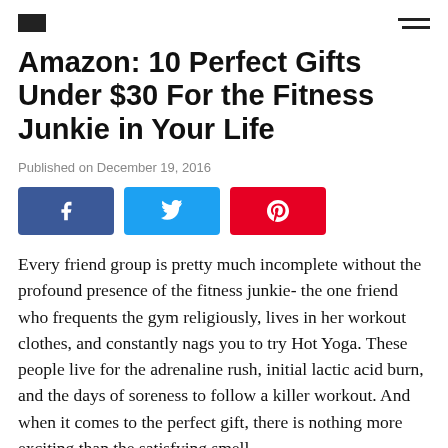[logo] [hamburger menu]
Amazon: 10 Perfect Gifts Under $30 For the Fitness Junkie in Your Life
Published on December 19, 2016
[Figure (other): Social share buttons: Facebook (blue), Twitter (light blue), Pinterest (red)]
Every friend group is pretty much incomplete without the profound presence of the fitness junkie- the one friend who frequents the gym religiously, lives in her workout clothes, and constantly nags you to try Hot Yoga. These people live for the adrenaline rush, initial lactic acid burn, and the days of soreness to follow a killer workout. And when it comes to the perfect gift, there is nothing more exciting than the satisfying smell and feel of what comes next...